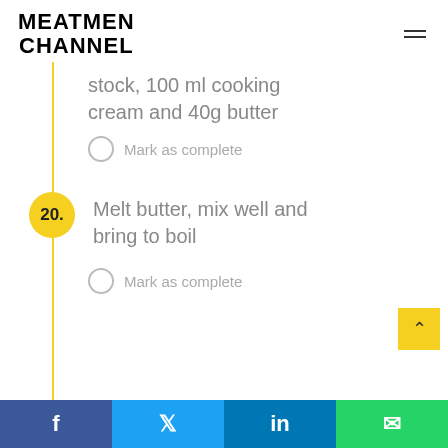MEATMEN CHANNEL
stock, 100 ml cooking cream and 40g butter
Mark as complete
20. Melt butter, mix well and bring to boil
Mark as complete
f  Twitter  in  WhatsApp